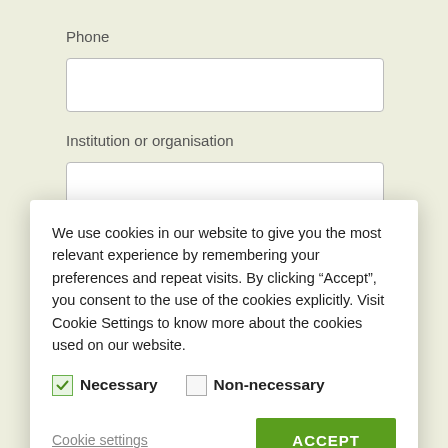Phone
Institution or organisation
We use cookies in our website to give you the most relevant experience by remembering your preferences and repeat visits. By clicking “Accept”, you consent to the use of the cookies explicitly. Visit Cookie Settings to know more about the cookies used on our website.
Necessary  Non-necessary
Cookie settings
ACCEPT